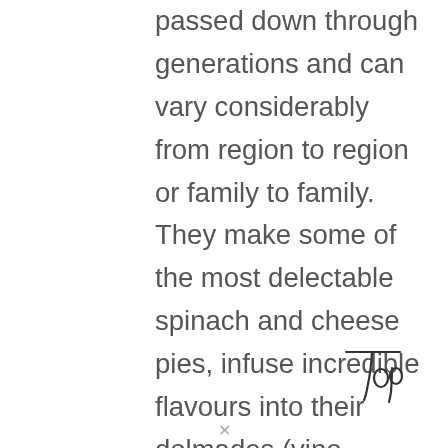passed down through generations and can vary considerably from region to region or family to family. They make some of the most delectable spinach and cheese pies, infuse incredible flavours into their dolmades (vine leaves) and can whip up desserts that shine in their simplicity and aromas. So, next time you are eating in a Greek taverna inquire as to whether a Greek yiayia makes any of the dishes and order some of them!
[Figure (illustration): Handwritten cursive signature reading 'Top']